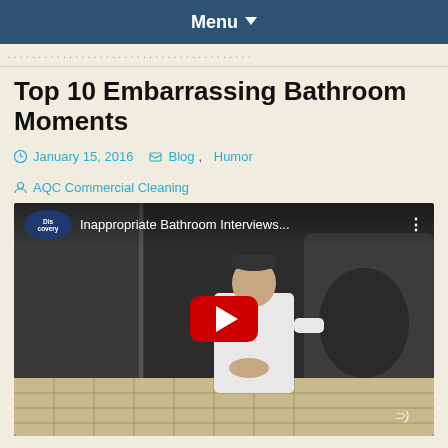Menu
Top 10 Embarrassing Bathroom Moments
January 15, 2016   Blog, Humor   AQC Commercial Cleaning
[Figure (screenshot): Embedded YouTube video thumbnail showing a Discovery Channel video titled 'Inappropriate Bathroom Interviews...' with a man sitting in a bathroom stall, featuring a red YouTube play button overlay and Discovery Channel logo.]
OK, I'm in a silly mood today and was thinking about this… it